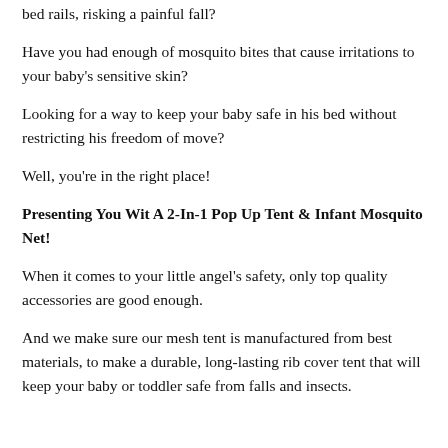bed rails, risking a painful fall?
Have you had enough of mosquito bites that cause irritations to your baby's sensitive skin?
Looking for a way to keep your baby safe in his bed without restricting his freedom of move?
Well, you're in the right place!
Presenting You Wit A 2-In-1 Pop Up Tent & Infant Mosquito Net!
When it comes to your little angel's safety, only top quality accessories are good enough.
And we make sure our mesh tent is manufactured from best materials, to make a durable, long-lasting rib cover tent that will keep your baby or toddler safe from falls and insects.